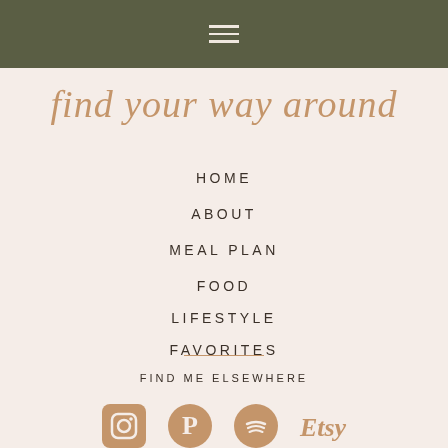find your way around
HOME
ABOUT
MEAL PLAN
FOOD
LIFESTYLE
FAVORITES
FIND ME ELSEWHERE
[Figure (illustration): Social media icons: Instagram, Pinterest, Spotify, Etsy]